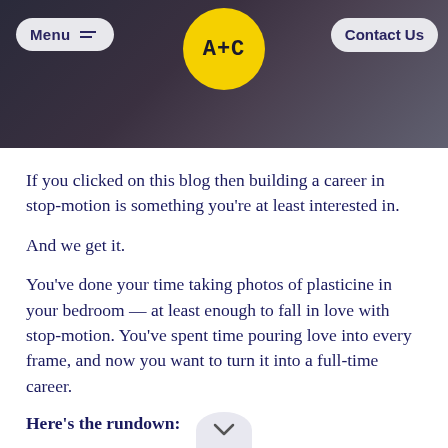[Figure (screenshot): Website header with dark photo background, Menu button on left, A+C logo yellow circle in center, Contact Us button on right]
If you clicked on this blog then building a career in stop-motion is something you're at least interested in.
And we get it.
You've done your time taking photos of plasticine in your bedroom — at least enough to fall in love with stop-motion. You've spent time pouring love into every frame, and now you want to turn it into a full-time career.
Here's the rundown:
You'll need mental and physical stamina